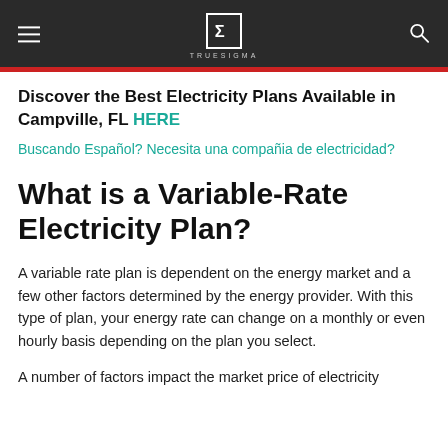TRUESIGMA
Discover the Best Electricity Plans Available in Campville, FL HERE
Buscando Español? Necesita una compañia de electricidad?
What is a Variable-Rate Electricity Plan?
A variable rate plan is dependent on the energy market and a few other factors determined by the energy provider. With this type of plan, your energy rate can change on a monthly or even hourly basis depending on the plan you select.
A number of factors impact the market price of electricity